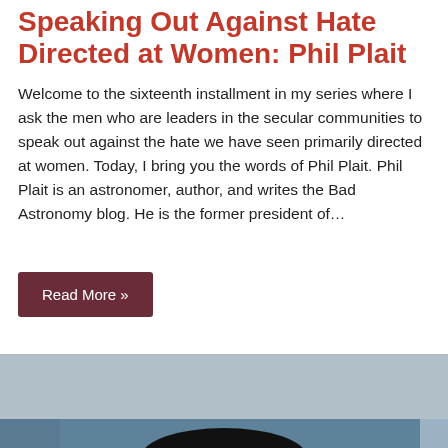Speaking Out Against Hate Directed at Women: Phil Plait
Welcome to the sixteenth installment in my series where I ask the men who are leaders in the secular communities to speak out against the hate we have seen primarily directed at women. Today, I bring you the words of Phil Plait. Phil Plait is an astronomer, author, and writes the Bad Astronomy blog. He is the former president of…
Read More »
[Figure (photo): Photograph of Phil Plait, a man with short dark hair and black-rimmed glasses, wearing a brown shirt, appearing to speak at an event, with a blue backdrop behind him.]